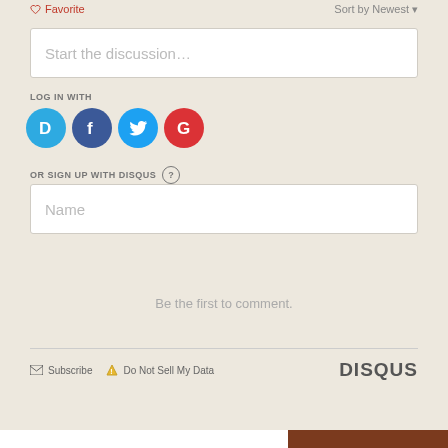Favorite  |  Sort by Newest
Start the discussion…
LOG IN WITH
[Figure (illustration): Social login icons: Disqus (blue circle with D), Facebook (dark blue circle with f), Twitter (light blue circle with bird), Google (red circle with G)]
OR SIGN UP WITH DISQUS ?
Name
Be the first to comment.
Subscribe  |  Do Not Sell My Data  |  DISQUS